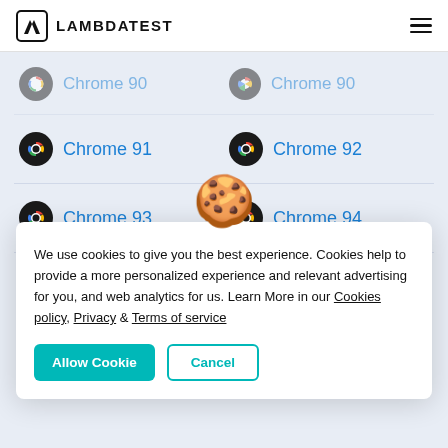LAMBDATEST
[Figure (screenshot): LambdaTest website showing a browser version selection grid with Chrome 91, Chrome 92, Chrome 93, Chrome 94, Chrome 95 (partial), Chrome 96 (partial) links with Chrome icons, partially obscured by a cookie consent dialog.]
We use cookies to give you the best experience. Cookies help to provide a more personalized experience and relevant advertising for you, and web analytics for us. Learn More in our Cookies policy, Privacy & Terms of service
Allow Cookie
Cancel